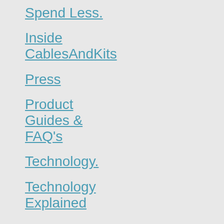Spend Less.
Inside CablesAndKits
Press
Product Guides & FAQ's
Technology.
Technology Explained